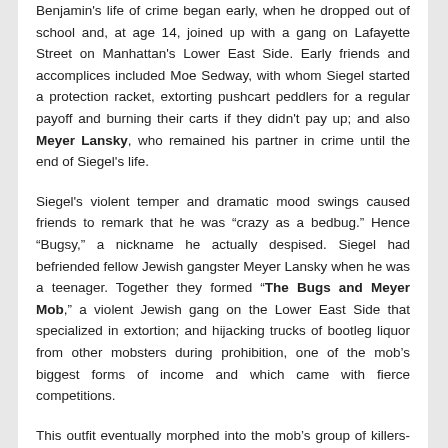Benjamin's life of crime began early, when he dropped out of school and, at age 14, joined up with a gang on Lafayette Street on Manhattan's Lower East Side. Early friends and accomplices included Moe Sedway, with whom Siegel started a protection racket, extorting pushcart peddlers for a regular payoff and burning their carts if they didn't pay up; and also Meyer Lansky, who remained his partner in crime until the end of Siegel's life.
Siegel's violent temper and dramatic mood swings caused friends to remark that he was "crazy as a bedbug." Hence "Bugsy," a nickname he actually despised. Siegel had befriended fellow Jewish gangster Meyer Lansky when he was a teenager. Together they formed "The Bugs and Meyer Mob," a violent Jewish gang on the Lower East Side that specialized in extortion; and hijacking trucks of bootleg liquor from other mobsters during prohibition, one of the mob's biggest forms of income and which came with fierce competitions.
This outfit eventually morphed into the mob's group of killers-for-hire that became known as "Murder, Inc."